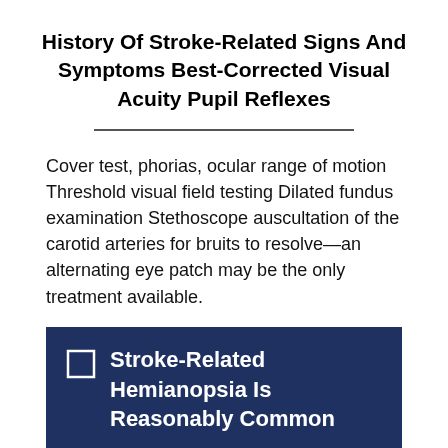History Of Stroke-Related Signs And Symptoms Best-Corrected Visual Acuity Pupil Reflexes
Cover test, phorias, ocular range of motion Threshold visual field testing Dilated fundus examination Stethoscope auscultation of the carotid arteries for bruits to resolve—an alternating eye patch may be the only treatment available.
Stroke-Related Hemianopsia Is Reasonably Common